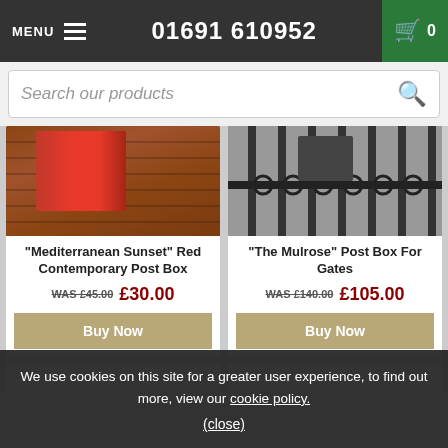MENU  01691 610952  0
Search our products
[Figure (photo): Red contemporary post box mounted on brick wall]
[Figure (photo): The Mulrose post box for gates, shown on black metal gate]
"Mediterranean Sunset" Red Contemporary Post Box
WAS £45.00  £30.00
"The Mulrose" Post Box For Gates
WAS £140.00  £105.00
We use cookies on this site for a greater user experience, to find out more, view our cookie policy.
(close)